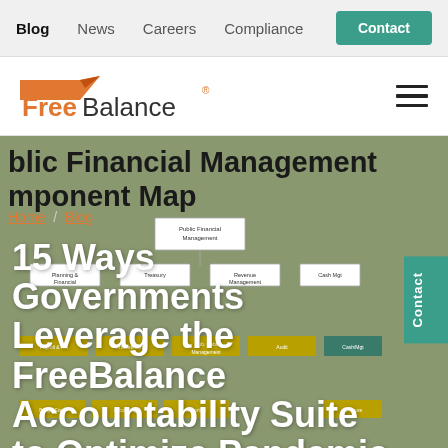Blog  News  Careers  Compliance  Contact
[Figure (logo): FreeBalance company logo with orange arrow graphic and text]
[Figure (screenshot): Public Financial Management Component Map diagram shown as background]
blic Financial Management
mponent Map
Home / Blog
15 Ways Governments Leverage the FreeBalance Accountability Suite to Optimize Pandemic Response and Fiscal Resilience